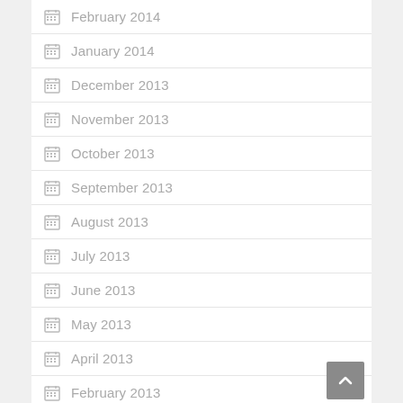February 2014
January 2014
December 2013
November 2013
October 2013
September 2013
August 2013
July 2013
June 2013
May 2013
April 2013
February 2013